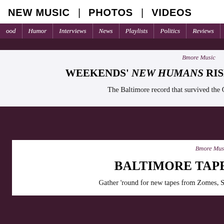NEW MUSIC | PHOTOS | VIDEOS
ood | Humor | Interviews | News | Playlists | Politics | Reviews | S
Bmore Music
WEEKENDS' NEW HUMANS RISES FROM THE ASHES
The Baltimore record that survived the Open Space studio fire.
Bmore Music
BALTIMORE TAPE CLUB VOL. 3
Gather 'round for new tapes from Zomes, Sick Din, and Unspecified Services.